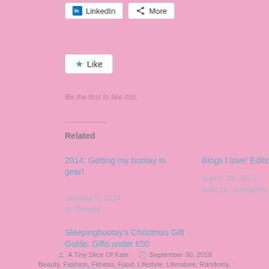[Figure (other): LinkedIn and More share buttons]
[Figure (other): Like button widget]
Be the first to like this.
Related
2014: Getting my bootay in gear!
January 5, 2014
In "Beauty"
Blogs I love! Edition 1
March 25, 2012
With 18 comments
Sleepingbootay's Christmas Gift Guide: Gifts under €50
December 7, 2013
In "Art"
A Tiny Slice Of Kate   September 30, 2018
Beauty, Fashion, Fitness, Food, Lifestyle, Literature, Randomy,